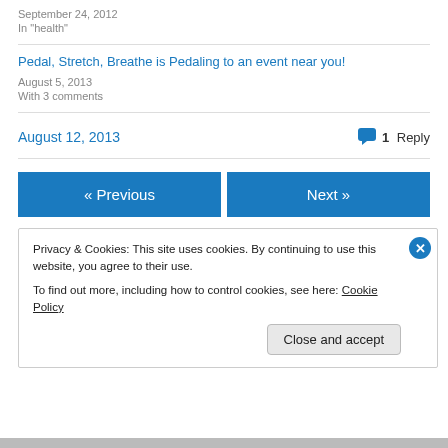September 24, 2012
In "health"
Pedal, Stretch, Breathe is Pedaling to an event near you!
August 5, 2013
With 3 comments
August 12, 2013
1 Reply
« Previous
Next »
Privacy & Cookies: This site uses cookies. By continuing to use this website, you agree to their use. To find out more, including how to control cookies, see here: Cookie Policy
Close and accept